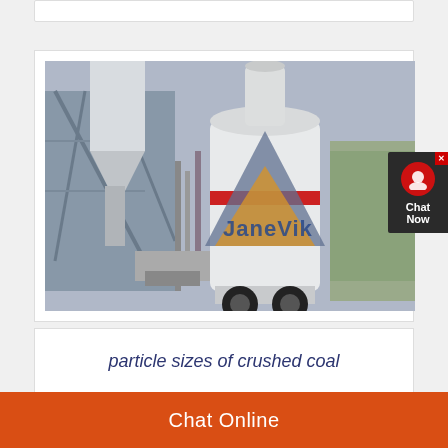[Figure (photo): Industrial grinding mill machine (JaneVik brand) with white cylindrical body, red stripe, triangular logo overlay, photographed outdoors at a facility with steel structures in background.]
particle sizes of crushed coal
Chat Online